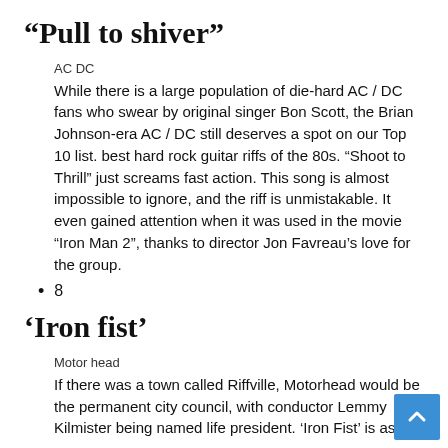“Pull to shiver”
AC DC
While there is a large population of die-hard AC / DC fans who swear by original singer Bon Scott, the Brian Johnson-era AC / DC still deserves a spot on our Top 10 list. best hard rock guitar riffs of the 80s. “Shoot to Thrill” just screams fast action. This song is almost impossible to ignore, and the riff is unmistakable. It even gained attention when it was used in the movie “Iron Man 2”, thanks to director Jon Favreau’s love for the group.
8
‘Iron fist’
Motor head
If there was a town called Riffville, Motorhead would be the permanent city council, with conductor Lemmy Kilmister being named life president. ‘Iron Fist’ is as